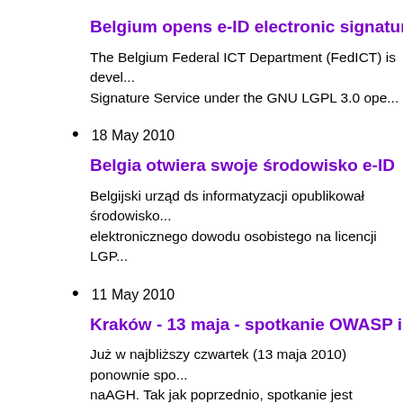Belgium opens e-ID electronic signature imp...
The Belgium Federal ICT Department (FedICT) is devel... Signature Service under the GNU LGPL 3.0 ope...
18 May 2010
Belgia otwiera swoje środowisko e-ID
Belgijski urząd ds informatyzacji opublikował środowisko... elektronicznego dowodu osobistego na licencji LGP...
11 May 2010
Kraków - 13 maja - spotkanie OWASP i ISSA...
Już w najbliższy czwartek (13 maja 2010) ponownie spo... naAGH. Tak jak poprzednio, spotkanie jest zorganizowa...